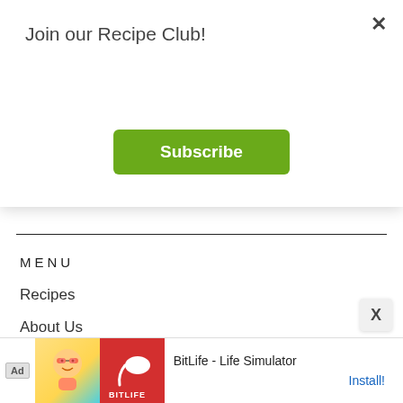Join our Recipe Club!
Subscribe
[Figure (other): Teal banner with LEARN MORE button]
MENU
Recipes
About Us
Contact
Get Involved
[Figure (other): Ad banner: Ad label, cartoon character image, BitLife logo, text BitLife - Life Simulator, Install! link]